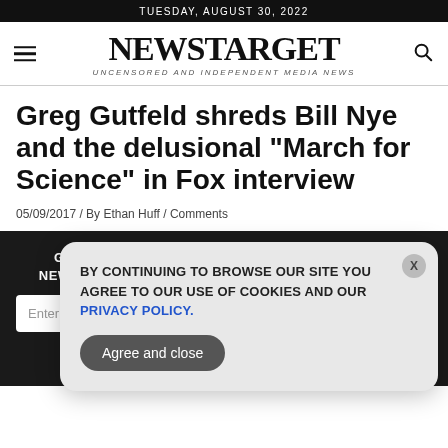TUESDAY, AUGUST 30, 2022
NEWSTARGET
UNCENSORED AND INDEPENDENT MEDIA NEWS
Greg Gutfeld shreds Bill Nye and the delusional “March for Science” in Fox interview
05/09/2017 / By Ethan Huff / Comments
GET THE WORLD'S #1 BEST INDEPENDENT MEDIA NEWSLETTER DELIVERED STRAIGHT TO YOUR INBOX.
BY CONTINUING TO BROWSE OUR SITE YOU AGREE TO OUR USE OF COOKIES AND OUR PRIVACY POLICY.
Agree and close